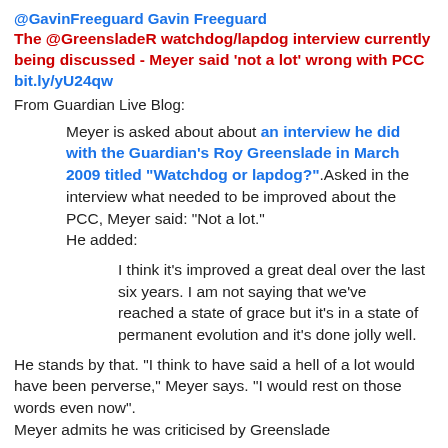@GavinFreeguard Gavin Freeguard
The @GreensladeR watchdog/lapdog interview currently being discussed - Meyer said 'not a lot' wrong with PCC bit.ly/yU24qw
From Guardian Live Blog:
Meyer is asked about about an interview he did with the Guardian's Roy Greenslade in March 2009 titled "Watchdog or lapdog?".Asked in the interview what needed to be improved about the PCC, Meyer said: "Not a lot."
He added:
I think it's improved a great deal over the last six years. I am not saying that we've reached a state of grace but it's in a state of permanent evolution and it's done jolly well.
He stands by that. "I think to have said a hell of a lot would have been perverse," Meyer says. "I would rest on those words even now".
Meyer admits he was criticised by Greenslade